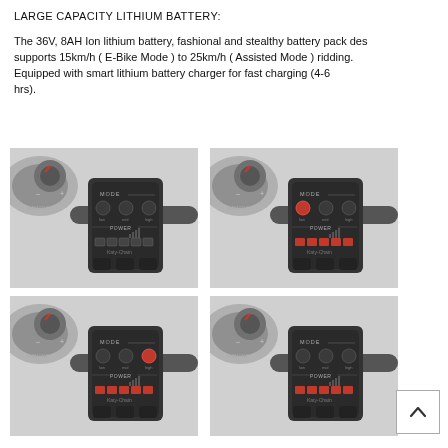LARGE CAPACITY LITHIUM BATTERY:
The 36V, 8AH Ion lithium battery, fashional and stealthy battery pack des supports 15km/h ( E-Bike Mode ) to 25km/h ( Assisted Mode ) ridding. Equipped with smart lithium battery charger for fast charging (4-6 hrs).
[Figure (photo): Four photos of an e-bike handlebar controller/display unit showing MODE and POWER indicators in different states (off/on LEDs). Top-left: all mode LEDs off, power LEDs off. Top-right: low mode LED lit orange, power LEDs lit orange. Bottom-left: high mode LED lit orange, power LEDs lit orange. Bottom-right: all mode LEDs off, power LEDs lit orange.]